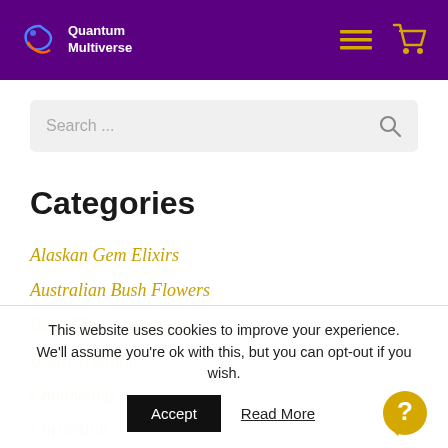Quantum Multiverse
Search ...
Categories
Alaskan Gem Elixirs
Australian Bush Flowers
Bach Flower Remedies
Brain Training
Channeling
Christallin
Christallin Oracle
This website uses cookies to improve your experience. We'll assume you're ok with this, but you can opt-out if you wish.  Accept  Read More